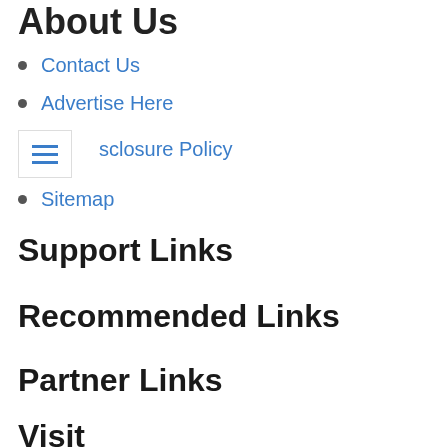About Us
Contact Us
Advertise Here
Disclosure Policy
Sitemap
Support Links
Recommended Links
Partner Links
Visit